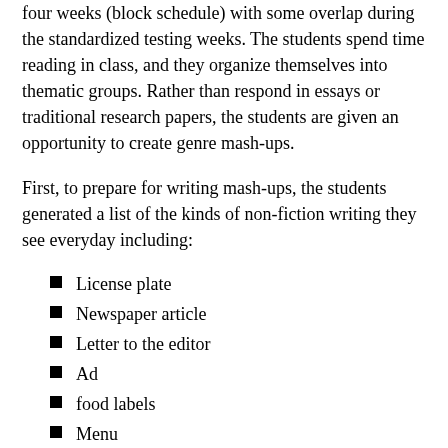four weeks (block schedule) with some overlap during the standardized testing weeks. The students spend time reading in class, and they organize themselves into thematic groups. Rather than respond in essays or traditional research papers, the students are given an opportunity to create genre mash-ups.
First, to prepare for writing mash-ups, the students generated a list of the kinds of non-fiction writing they see everyday including:
License plate
Newspaper article
Letter to the editor
Ad
food labels
Menu